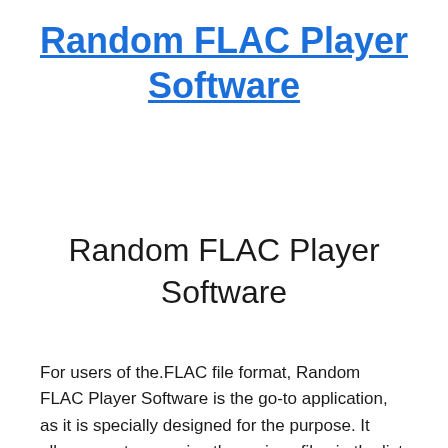Random FLAC Player Software
Random FLAC Player Software
For users of the.FLAC file format, Random FLAC Player Software is the go-to application, as it is specially designed for the purpose. It allows you to organize the various files in the list and to easily control